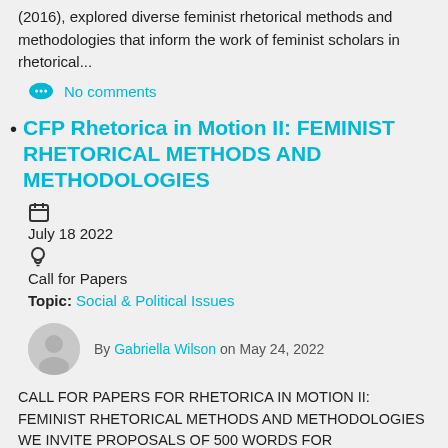(2016), explored diverse feminist rhetorical methods and methodologies that inform the work of feminist scholars in rhetorical...
No comments
CFP Rhetorica in Motion II: FEMINIST RHETORICAL METHODS AND METHODOLOGIES
July 18 2022
Call for Papers
Topic: Social & Political Issues
By Gabriella Wilson on May 24, 2022
CALL FOR PAPERS FOR RHETORICA IN MOTION II: FEMINIST RHETORICAL METHODS AND METHODOLOGIES We invite proposals of 500 words for